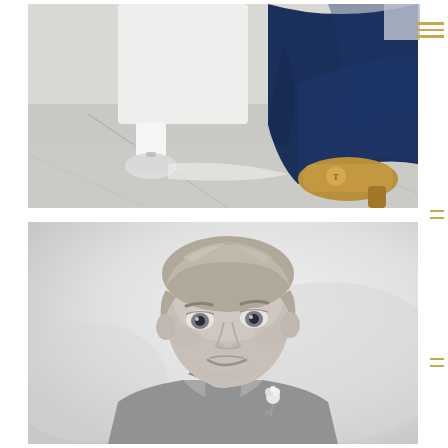[Figure (photo): Close-up color photograph of the feet and lower legs of wedding party members walking on pavement. A flower girl in a white dress with a cream satin bow on the back of her shoe, wearing white socks and white mary-jane shoes, walks alongside a bridesmaid or adult in a navy blue chiffon dress wearing gold Tory Burch heeled shoes.]
[Figure (photo): Black and white portrait photograph of a young boy (ring bearer) in a grey suit with a white dress shirt and a small floral boutonniere, looking at the camera with a slight smile. Blurred light grey background.]